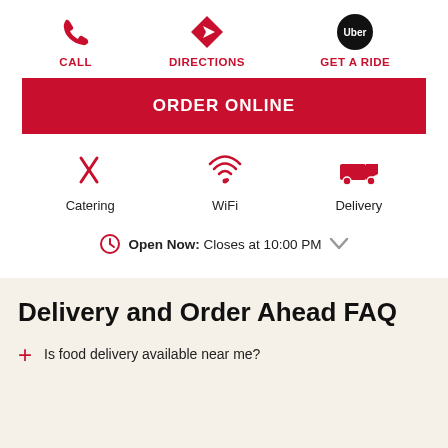[Figure (infographic): Three action buttons: CALL (phone icon in red), DIRECTIONS (navigation arrow icon in red), GET A RIDE (Uber logo circle)]
ORDER ONLINE
[Figure (infographic): Three amenity icons: Catering (fork and knife crossed, red), WiFi (wifi signal, red), Delivery (truck, red)]
Open Now: Closes at 10:00 PM
Delivery and Order Ahead FAQ
Is food delivery available near me?